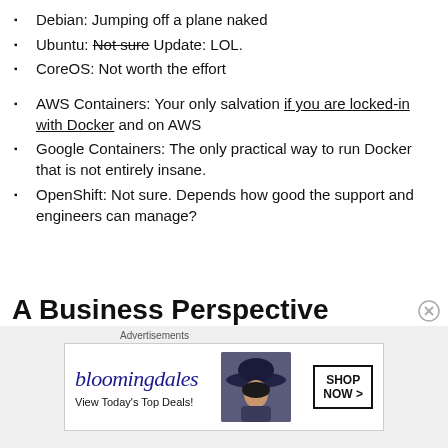Debian: Jumping off a plane naked
Ubuntu: Not sure Update: LOL.
CoreOS: Not worth the effort
AWS Containers: Your only salvation if you are locked-in with Docker and on AWS
Google Containers: The only practical way to run Docker that is not entirely insane.
OpenShift: Not sure. Depends how good the support and engineers can manage?
A Business Perspective
[Figure (other): Bloomingdale's advertisement banner with logo, 'View Today's Top Deals!' tagline, woman in hat image, and 'SHOP NOW >' button]